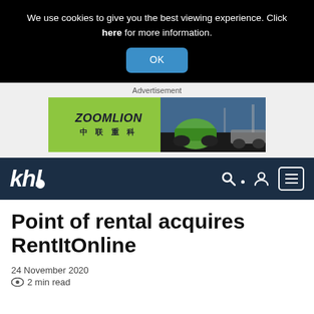We use cookies to give you the best viewing experience. Click here for more information.
OK
Advertisement
[Figure (logo): Zoomlion advertisement banner showing logo on green background and construction machinery on dark background]
[Figure (logo): KHL media logo in white italic text on dark navy navigation bar with search, user, and menu icons]
Point of rental acquires RentItOnline
24 November 2020
2 min read